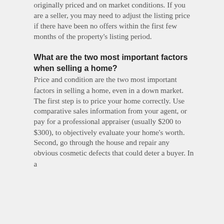originally priced and on market conditions. If you are a seller, you may need to adjust the listing price if there have been no offers within the first few months of the property's listing period.
What are the two most important factors when selling a home?
Price and condition are the two most important factors in selling a home, even in a down market. The first step is to price your home correctly. Use comparative sales information from your agent, or pay for a professional appraiser (usually $200 to $300), to objectively evaluate your home's worth. Second, go through the house and repair any obvious cosmetic defects that could deter a buyer. In a